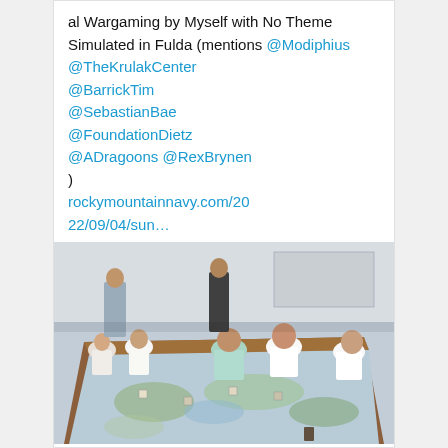al Wargaming by Myself with No Theme Simulated in Fulda (mentions @Modiphius @TheKrulakCenter @BarrickTim @SebastianBae @FoundationDietz @ADragoons @RexBrynen ) rockymountainnavy.com/2022/09/04/sun…
[Figure (photo): People seated around a long conference table playing a board wargame with maps spread out. Several participants visible, some standing in background.]
rockymountainnavy.com
#SundaySummary – Brute-al Wargaming by Myself w…